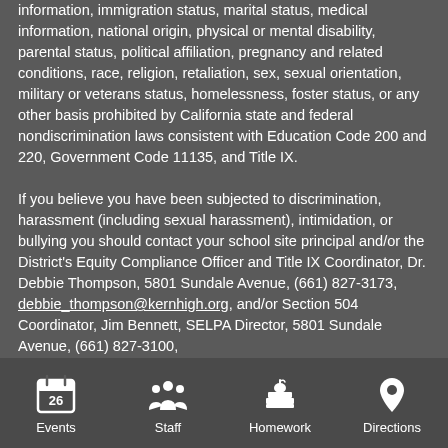information, immigration status, marital status, medical information, national origin, physical or mental disability, parental status, political affiliation, pregnancy and related conditions, race, religion, retaliation, sex, sexual orientation, military or veterans status, homelessness, foster status, or any other basis prohibited by California state and federal nondiscrimination laws consistent with Education Code 200 and 220, Government Code 11135, and Title IX.

If you believe you have been subjected to discrimination, harassment (including sexual harassment), intimidation, or bullying you should contact your school site principal and/or the District's Equity Compliance Officer and Title IX Coordinator, Dr. Debbie Thompson, 5801 Sundale Avenue, (661) 827-3173, debbie_thompson@kernhigh.org, and/or Section 504 Coordinator, Jim Bennett, SELPA Director, 5801 Sundale Avenue, (661) 827-3100, jim_bennett@kernhigh.org. A copy of KHSD's Uniform Complaint policy and Nondiscrimination policy are available at www.kernhigh.org and upon request.
Events | Staff | Homework | Directions